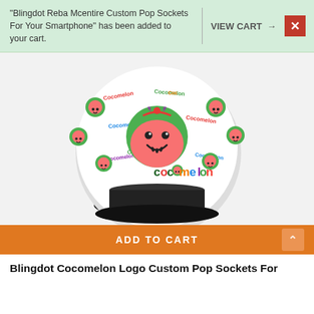“Blingdot Reba Mcentire Custom Pop Sockets For Your Smartphone” has been added to your cart.
VIEW CART →
[Figure (photo): A pop socket with Cocomelon themed design featuring watermelon characters and the Cocomelon logo on a white background, with a black base/stand.]
ADD TO CART
Blingdot Cocomelon Logo Custom Pop Sockets For